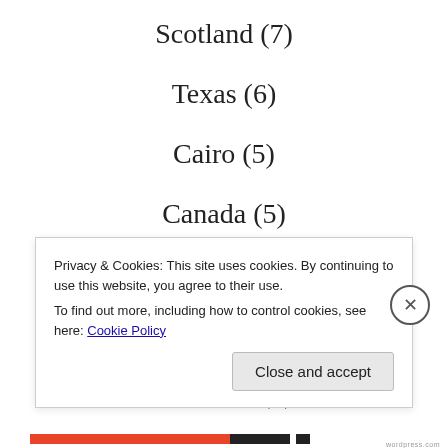Scotland (7)
Texas (6)
Cairo (5)
Canada (5)
Houston (5)
Missouri (5)
Thailand (5)
Privacy & Cookies: This site uses cookies. By continuing to use this website, you agree to their use.
To find out more, including how to control cookies, see here: Cookie Policy